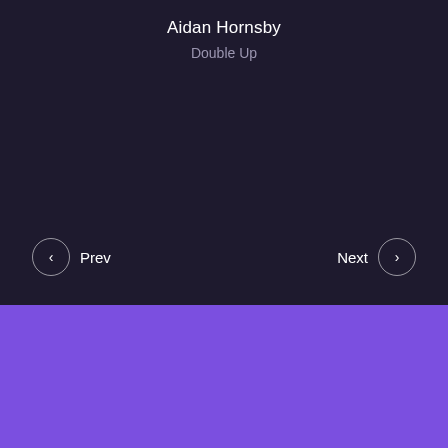Aidan Hornsby
Double Up
Prev
Next
How much time will you save with Mailman?